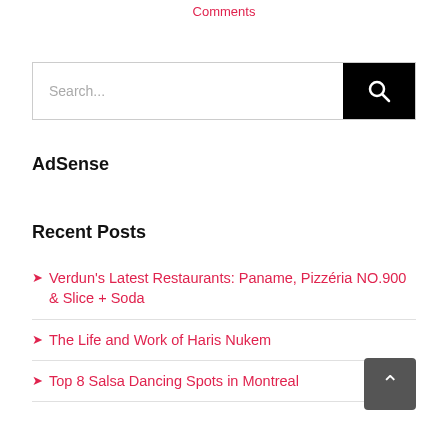Comments
[Figure (other): Search bar with text input and black search button with magnifying glass icon]
AdSense
Recent Posts
Verdun's Latest Restaurants: Paname, Pizzéria NO.900 & Slice + Soda
The Life and Work of Haris Nukem
Top 8 Salsa Dancing Spots in Montreal